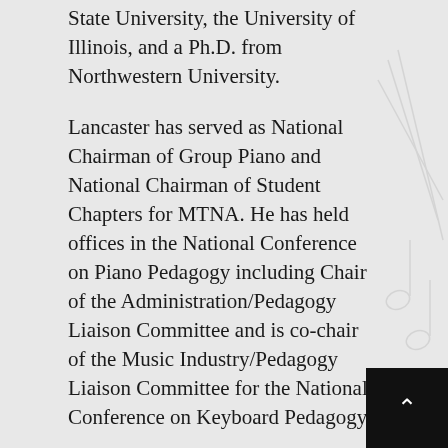State University, the University of Illinois, and a Ph.D. from Northwestern University.
Lancaster has served as National Chairman of Group Piano and National Chairman of Student Chapters for MTNA. He has held offices in the National Conference on Piano Pedagogy including Chair of the Administration/Pedagogy Liaison Committee and is co-chair of the Music Industry/Pedagogy Liaison Committee for the National Conference on Keyboard Pedagogy.
He has received numerous teaching awards from the University of Oklahoma including the Regents Award for Superior Teaching (1984), Associates Distinguished Lectureship (1987), Provost's Outstanding Academic Advising Award (1996), and Outstanding Faculty Award in the College of Fine Arts (1996). In 1991, he was awarded a David...